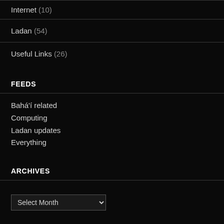Internet (10)
Ladan (54)
Useful Links (26)
FEEDS
Bahá'í related
Computing
Ladan updates
Everything
ARCHIVES
Select Month